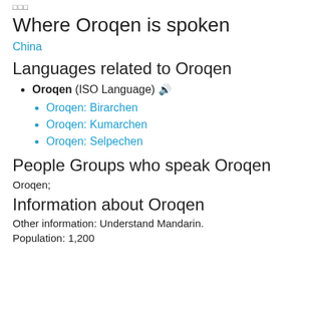□□□
Where Oroqen is spoken
China
Languages related to Oroqen
Oroqen (ISO Language) 🔊
Oroqen: Birarchen
Oroqen: Kumarchen
Oroqen: Selpechen
People Groups who speak Oroqen
Oroqen;
Information about Oroqen
Other information: Understand Mandarin.
Population: 1,200